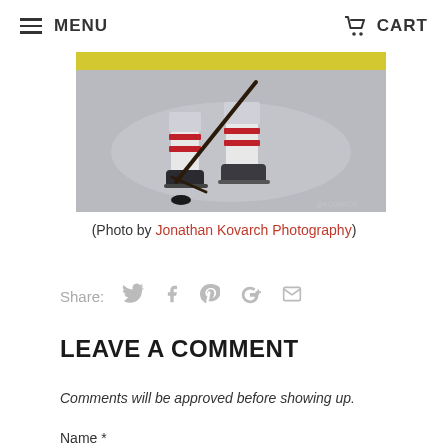MENU  CART
[Figure (photo): Hockey player legs on ice with skates, stick, and puck visible. Player wearing white, red, and black uniform. Yellow boards in background.]
(Photo by Jonathan Kovarch Photography)
Share:
LEAVE A COMMENT
Comments will be approved before showing up.
Name *